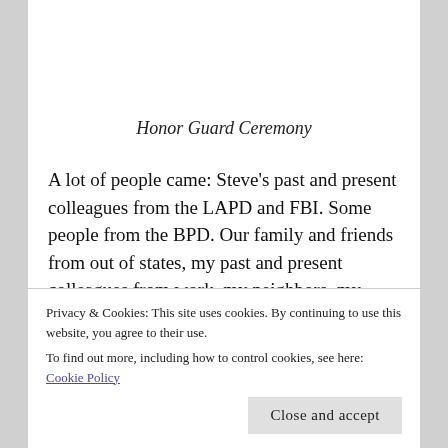Honor Guard Ceremony
A lot of people came: Steve's past and present colleagues from the LAPD and FBI. Some people from the BPD. Our family and friends from out of states, my past and present colleagues from work, my neighbors, my mommy-friends, the bereavement groups from St. Lorenzo & St. Francis Xavier, friends that I lost touch with…
Privacy & Cookies: This site uses cookies. By continuing to use this website, you agree to their use.
To find out more, including how to control cookies, see here: Cookie Policy
Close and accept